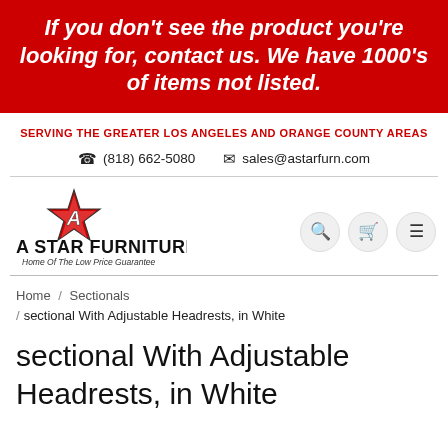If you don't see the product you're looking for, contact us. We have 1000's of items not listed.
SERVING THE GREATER LOS ANGELES AND ORANGE COUNTY AREAS
☎ (818) 662-5080   ✉ sales@astarfurn.com
[Figure (logo): A Star Furniture logo with red star and italic letter A, text 'A STAR FURNITURE Home Of The Low Price Guarantee']
Home / Sectionals / sectional With Adjustable Headrests, in White
sectional With Adjustable Headrests, in White